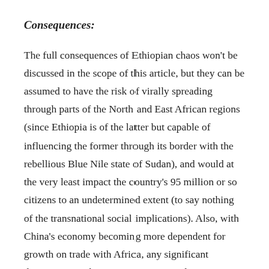Consequences:
The full consequences of Ethiopian chaos won't be discussed in the scope of this article, but they can be assumed to have the risk of virally spreading through parts of the North and East African regions (since Ethiopia is of the latter but capable of influencing the former through its border with the rebellious Blue Nile state of Sudan), and would at the very least impact the country's 95 million or so citizens to an undetermined extent (to say nothing of the transnational social implications). Also, with China's economy becoming more dependent for growth on trade with Africa, any significant disruption in Ethiopia, Beijing's prized